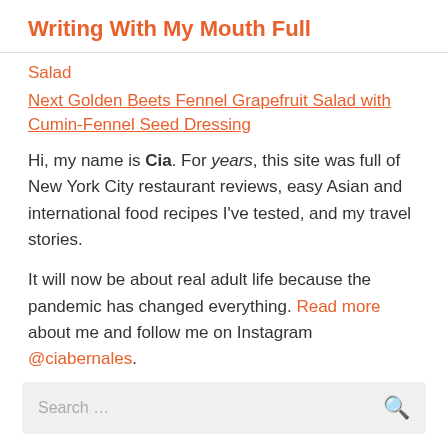Writing With My Mouth Full
Salad
Next Golden Beets Fennel Grapefruit Salad with Cumin-Fennel Seed Dressing
Hi, my name is Cia. For years, this site was full of New York City restaurant reviews, easy Asian and international food recipes I've tested, and my travel stories.
It will now be about real adult life because the pandemic has changed everything. Read more about me and follow me on Instagram @ciabernales.